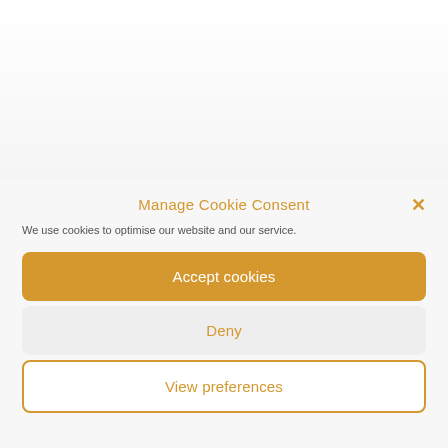[Figure (screenshot): White/light gray background area representing a webpage behind the cookie consent modal]
Manage Cookie Consent
We use cookies to optimise our website and our service.
Accept cookies
Deny
View preferences